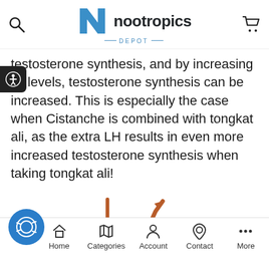nootropics DEPOT
testosterone synthesis, and by increasing its levels, testosterone synthesis can be increased. This is especially the case when Cistanche is combined with tongkat ali, as the extra LH results in even more increased testosterone synthesis when taking tongkat ali!
[Figure (illustration): An upward trending line chart icon in brown/rust color, showing a zigzag line going up to the right with an arrow, on axes (L-shape bracket).]
Growth Hormone
Ci...he tubulosa has been shown to activate
Home  Categories  Account  Contact  More